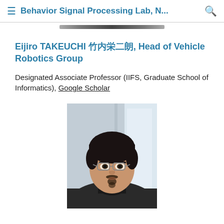Behavior Signal Processing Lab, N...
Eijiro TAKEUCHI 竹内栄二朗, Head of Vehicle Robotics Group
Designated Associate Professor (IIFS, Graduate School of Informatics), Google Scholar
[Figure (photo): Portrait photo of Eijiro Takeuchi, a man with glasses and a goatee wearing a dark turtleneck, photographed against a blurred indoor background.]